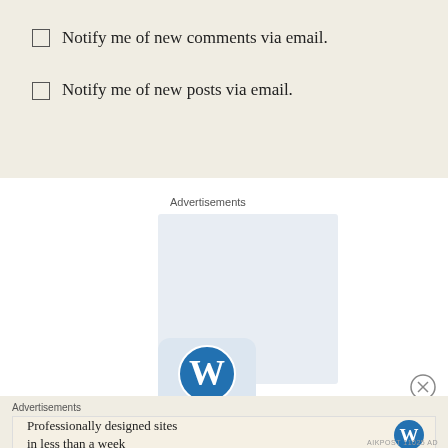Notify me of new comments via email.
Notify me of new posts via email.
Advertisements
[Figure (logo): WordPress logo in a rounded blue square]
[Figure (other): Close/X button circle]
Advertisements
Professionally designed sites in less than a week
[Figure (logo): WordPress logo small]
AIKPOST 11025 AD